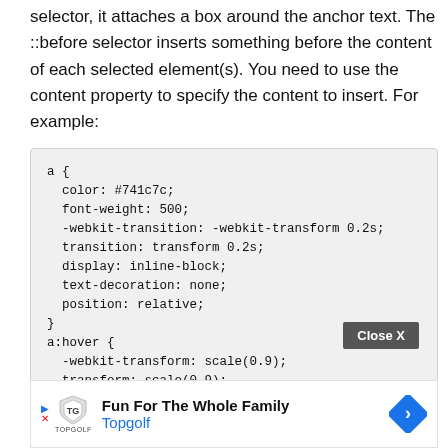selector, it attaches a box around the anchor text. The ::before selector inserts something before the content of each selected element(s). You need to use the content property to specify the content to insert. For example:
[Figure (screenshot): Code block showing CSS for anchor elements with color, font-weight, webkit-transition, transition, display, text-decoration, position properties and a:hover with webkit-transform and transform scale(0.9)]
[Figure (screenshot): Advertisement banner for Topgolf: 'Fun For The Whole Family' with Topgolf logo and blue diamond arrow icon. Close X button visible.]